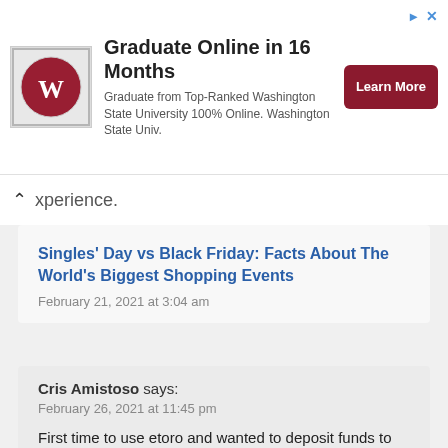[Figure (screenshot): Washington State University advertisement banner with WSU logo, headline 'Graduate Online in 16 Months', subtitle text, and red 'Learn More' button]
xperience.
Singles' Day vs Black Friday: Facts About The World's Biggest Shopping Events
February 21, 2021 at 3:04 am
Cris Amistoso says:
February 26, 2021 at 11:45 pm
First time to use etoro and wanted to deposit funds to my account but it was reflected that the